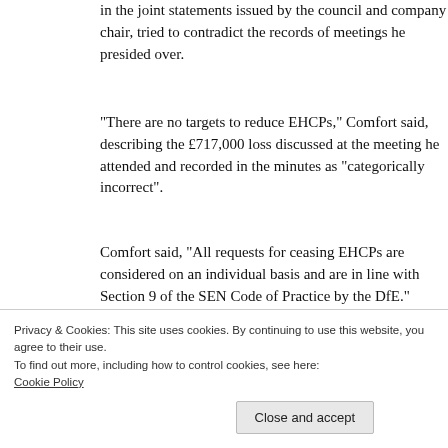in the joint statements issued by the council and company chair, tried to contradict the records of meetings he presided over.
“There are no targets to reduce EHCPs,” Comfort said, describing the £717,000 loss discussed at the meeting he attended and recorded in the minutes as “categorically incorrect”.
Comfort said, “All requests for ceasing EHCPs are considered on an individual basis and are in line with Section 9 of the SEN Code of Practice by the DfE.”
And James claimed...
Privacy & Cookies: This site uses cookies. By continuing to use this website, you agree to their use.
To find out more, including how to control cookies, see here:
Cookie Policy
Close and accept
we've all seen the minutes. You've